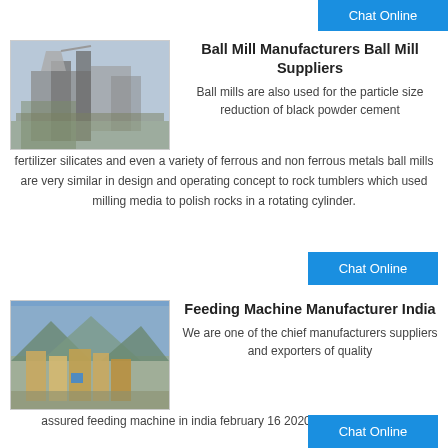Chat Online
[Figure (photo): Industrial ball mill facility with large structure and conveyor]
Ball Mill Manufacturers Ball Mill Suppliers
Ball mills are also used for the particle size reduction of black powder cement fertilizer silicates and even a variety of ferrous and non ferrous metals ball mills are very similar in design and operating concept to rock tumblers which used milling media to polish rocks in a rotating cylinder.
Chat Online
[Figure (photo): Aerial view of industrial feeding machine facility in India with mountains in background]
Feeding Machine Manufacturer India
We are one of the chief manufacturers suppliers and exporters of quality assured feeding machine in india february 16 2020 info ballmill home
Chat Online